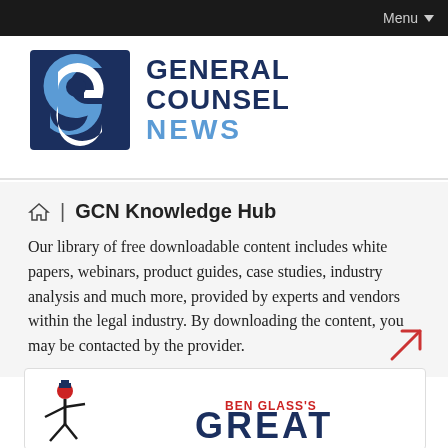Menu
[Figure (logo): General Counsel News logo with GC icon square and text GENERAL COUNSEL NEWS]
GCN Knowledge Hub
Our library of free downloadable content includes white papers, webinars, product guides, case studies, industry analysis and much more, provided by experts and vendors within the legal industry. By downloading the content, you may be contacted by the provider.
[Figure (logo): Ben Glass's GREAT marketing card with illustrated figure character]